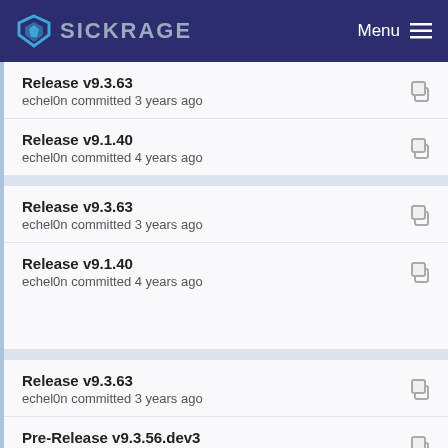SICKRAGE  Menu
Release v9.3.63
echel0n committed 3 years ago
Release v9.1.40
echel0n committed 4 years ago
Release v9.3.63
echel0n committed 3 years ago
Release v9.1.40
echel0n committed 4 years ago
Release v9.3.63
echel0n committed 3 years ago
Pre-Release v9.3.56.dev3
echel0n committed 4 years ago